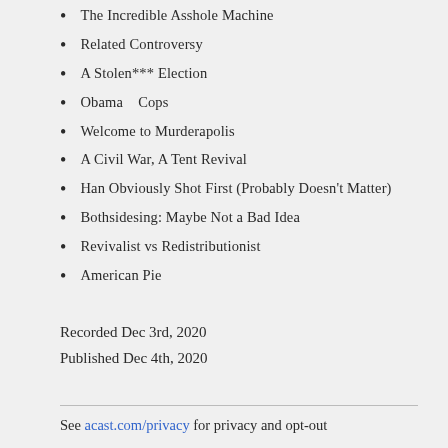The Incredible Asshole Machine
Related Controversy
A Stolen*** Election
Obama   Cops
Welcome to Murderapolis
A Civil War, A Tent Revival
Han Obviously Shot First (Probably Doesn't Matter)
Bothsidesing: Maybe Not a Bad Idea
Revivalist vs Redistributionist
American Pie
Recorded Dec 3rd, 2020
Published Dec 4th, 2020
See acast.com/privacy for privacy and opt-out